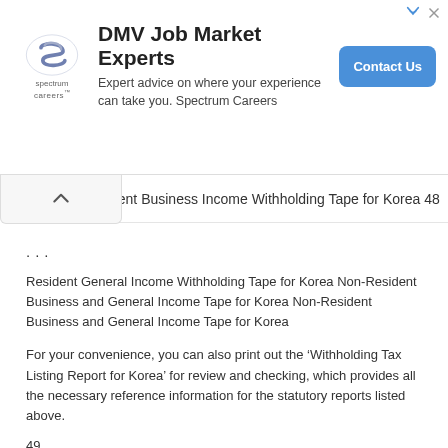[Figure (other): Advertisement banner for Spectrum Careers / DMV Job Market Experts with logo, headline, subtext, and Contact Us button]
dent Business Income Withholding Tape for Korea 48
...
Resident General Income Withholding Tape for Korea Non-Resident Business and General Income Tape for Korea Non-Resident Business and General Income Tape for Korea
For your convenience, you can also print out the ‘Withholding Tax Listing Report for Korea’ for review and checking, which provides all the necessary reference information for the statutory reports listed above.
49
LOCALIZATIONS FOR SINGAPORE INPUT TAX GAIN AND LOSS REPORT FOR SINGAPORE The Input Tax Gain/Loss Report for Singapore allows you to report to the Tax Authority the GST paid to Suppliers, as well as track the